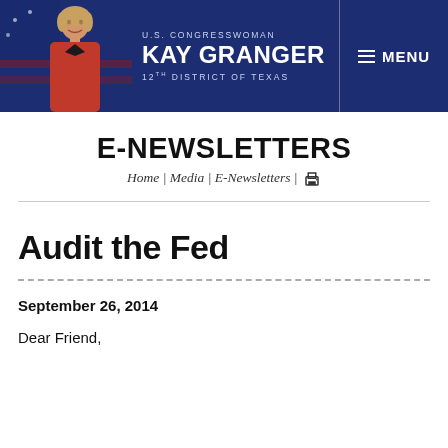[Figure (screenshot): U.S. Congresswoman Kay Granger website header banner with photo of congresswoman on left, name and title in white text on dark blue background, and MENU button on right]
E-NEWSLETTERS
Home | Media | E-Newsletters | [print icon]
Audit the Fed
September 26, 2014
Dear Friend,